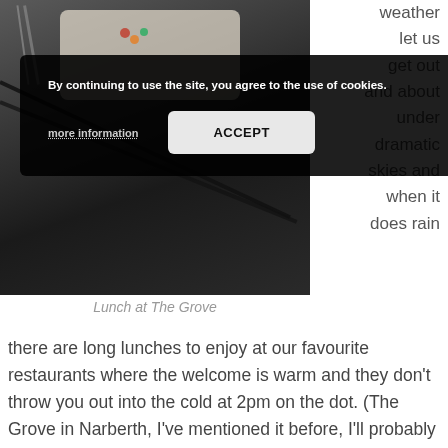[Figure (photo): Photograph of a lunch plate at The Grove restaurant, with food items on a white plate, fork, and chopsticks visible, shown against a dark background]
[Figure (screenshot): Cookie consent banner overlay reading: 'By continuing to use the site, you agree to the use of cookies.' with 'more information' and 'ACCEPT' buttons]
weather let us get out and about under dramatic skies and when it does rain
Lunch at The Grove
there are long lunches to enjoy at our favourite restaurants where the welcome is warm and they don't throw you out into the cold at 2pm on the dot. (The Grove in Narberth, I've mentioned it before, I'll probably mention it again, it just has the whole genuine welcome/fantastic food thing sorted!)
But I have to admit, the thought that these dark days will actually go on for months is a bit of a downer. Right now it